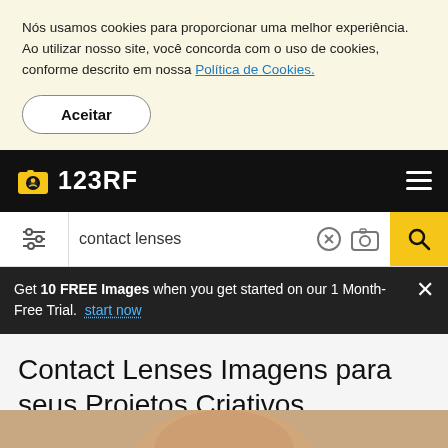Nós usamos cookies para proporcionar uma melhor experiência. Ao utilizar nosso site, você concorda com o uso de cookies, conforme descrito em nossa Política de Cookies.
Aceitar
123RF
contact lenses
Get 10 FREE Images when you get started on our 1 Month-Free Trial. start now
Contact Lenses Imagens para seus Projetos Criativos
[Figure (photo): Bottom strip showing partial view of a person's face (woman with blonde hair), cropped at the bottom of the page]